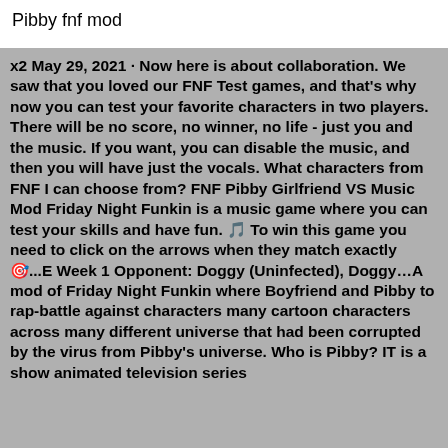Pibby fnf mod
x2 May 29, 2021 · Now here is about collaboration. We saw that you loved our FNF Test games, and that's why now you can test your favorite characters in two players. There will be no score, no winner, no life - just you and the music. If you want, you can disable the music, and then you will have just the vocals. What characters from FNF I can choose from? FNF Pibby Girlfriend VS Music Mod Friday Night Funkin is a music game where you can test your skills and have fun. 🎵 To win this game you need to click on the arrows when they match exactly 🎯...E Week 1 Opponent: Doggy (Uninfected), Doggy…A mod of Friday Night Funkin where Boyfriend and Pibby to rap-battle against characters many cartoon characters across many different universe that had been corrupted by the virus from Pibby's universe. Who is Pibby? IT is a show animated television series